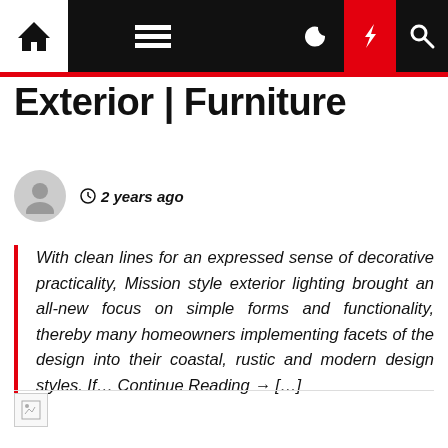Exterior | Furniture — navigation bar with home, menu, moon, bolt, search icons
Exterior | Furniture
2 years ago
With clean lines for an expressed sense of decorative practicality, Mission style exterior lighting brought an all-new focus on simple forms and functionality, thereby many homeowners implementing facets of the design into their coastal, rustic and modern design styles. If… Continue Reading → […]
[Figure (photo): Broken image placeholder at bottom of page]